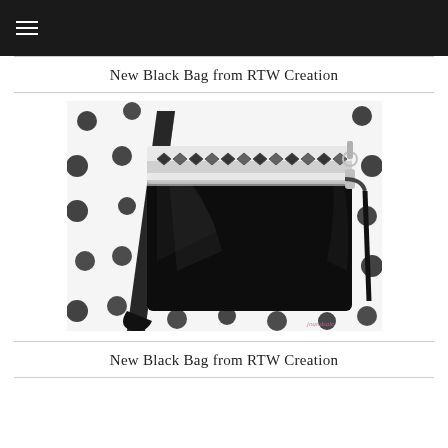New Black Bag from RTW Creation
[Figure (photo): A black patent leather crossbody bag with a decorative geometric black and white patterned flap, shown on a white polka-dot background with a shoulder strap.]
New Black Bag from RTW Creation